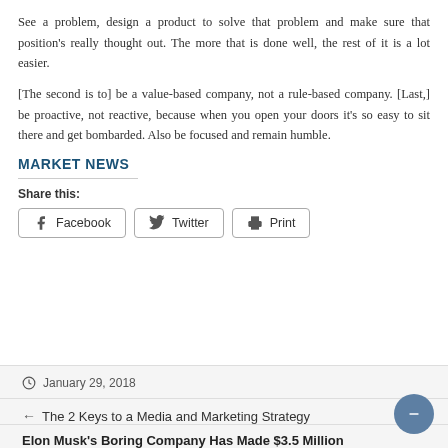See a problem, design a product to solve that problem and make sure that position’s really thought out. The more that is done well, the rest of it is a lot easier.
[The second is to] be a value-based company, not a rule-based company. [Last,] be proactive, not reactive, because when you open your doors it's so easy to sit there and get bombarded. Also be focused and remain humble.
MARKET NEWS
Share this:
Facebook  Twitter  Print
January 29, 2018
← The 2 Keys to a Media and Marketing Strategy
Elon Musk’s Boring Company Has Made $3.5 Million